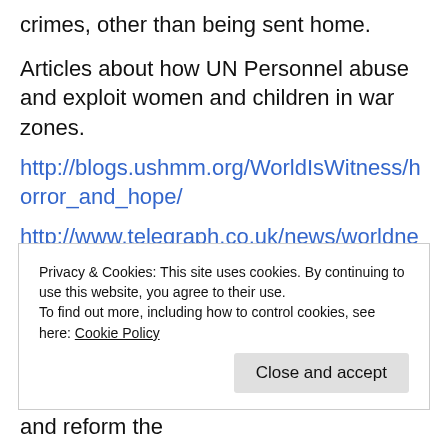crimes, other than being sent home.
Articles about how UN Personnel abuse and exploit women and children in war zones.
http://blogs.ushmm.org/WorldIsWitness/horror_and_hope/
http://www.telegraph.co.uk/news/worldnews/1538556/UN-to-hold-inquiry-into-Sudan-child-abuse.html
http://www.boston.com/news/world/europe/articles/2008/05/28/peacekeepers_accused_of_sexual_abuse_of_childre
Privacy & Cookies: This site uses cookies. By continuing to use this website, you agree to their use.
To find out more, including how to control cookies, see here: Cookie Policy
Close and accept
criminals here, and they need to step up and reform the